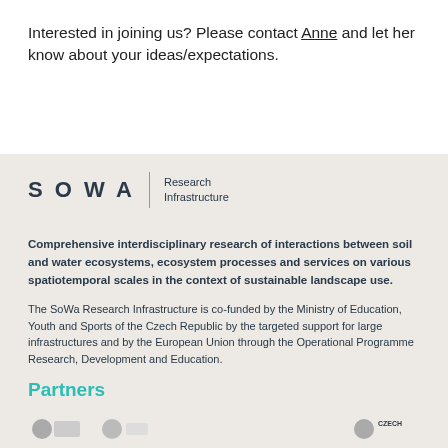Interested in joining us? Please contact Anne and let her know about your ideas/expectations.
[Figure (logo): SoWa Research Infrastructure logo with stylized SOWA text and vertical divider followed by 'Research Infrastructure' text]
Comprehensive interdisciplinary research of interactions between soil and water ecosystems, ecosystem processes and services on various spatiotemporal scales in the context of sustainable landscape use.
The SoWa Research Infrastructure is co-funded by the Ministry of Education, Youth and Sports of the Czech Republic by the targeted support for large infrastructures and by the European Union through the Operational Programme Research, Development and Education.
Partners
[Figure (logo): Partner organization logos at the bottom of the page]